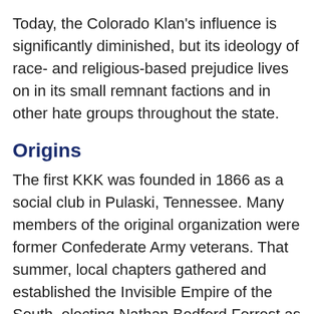Today, the Colorado Klan's influence is significantly diminished, but its ideology of race- and religious-based prejudice lives on in its small remnant factions and in other hate groups throughout the state.
Origins
The first KKK was founded in 1866 as a social club in Pulaski, Tennessee. Many members of the original organization were former Confederate Army veterans. That summer, local chapters gathered and established the Invisible Empire of the South, electing Nathan Bedford Forrest as the Grand Wizard of all Klan chapters. The Klan during